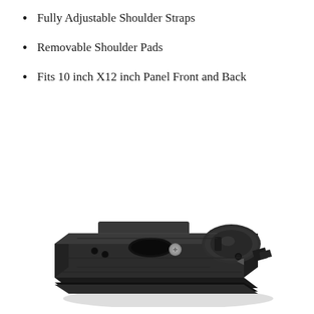Fully Adjustable Shoulder Straps
Removable Shoulder Pads
Fits 10 inch X12 inch Panel Front and Back
[Figure (photo): A dark gunmetal/black metal quick-release camera plate or mounting bracket with screw holes, a circular locking mechanism, and a textured rubber base, photographed on a white background at an angle.]